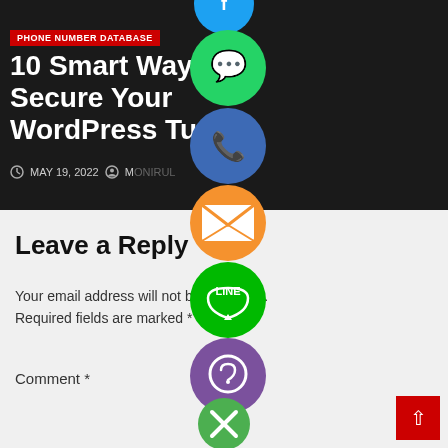[Figure (screenshot): Dark-background blog article card with red PHONE NUMBER DATABASE badge, title '10 Smart Ways to Secure Your WordPress Tunisia', date MAY 19, 2022 and author metadata]
10 Smart Ways to Secure Your WordPress Tunisia
MAY 19, 2022
Leave a Reply
Your email address will not be published. Required fields are marked *
Comment *
[Figure (infographic): Floating social share buttons: WhatsApp (green), phone/Facebook (blue), email (orange), LINE (green), Viber (purple), close (green X)]